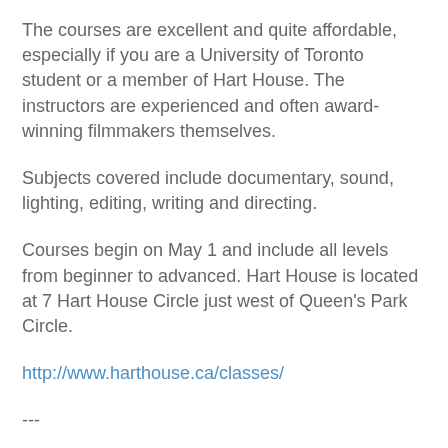The courses are excellent and quite affordable, especially if you are a University of Toronto student or a member of Hart House. The instructors are experienced and often award-winning filmmakers themselves.
Subjects covered include documentary, sound, lighting, editing, writing and directing.
Courses begin on May 1 and include all levels from beginner to advanced. Hart House is located at 7 Hart House Circle just west of Queen's Park Circle.
http://www.harthouse.ca/classes/
---
Hart House Filmmaking Classes, Spring/Summer 2012
Moviemaking 101
Instructor: Rick Palidwor